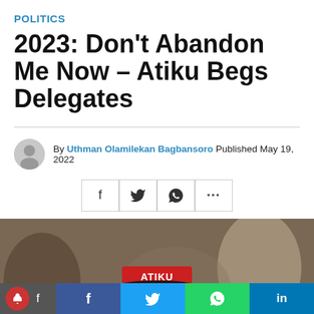POLITICS
2023: Don't Abandon Me Now – Atiku Begs Delegates
By Uthman Olamilekan Bagbansoro Published May 19, 2022
[Figure (photo): Person wearing a red cap with 'ATIKU FOR PRESIDENT' text, blurred background with people]
Social share bar: notification bell, Facebook, Twitter, WhatsApp, LinkedIn